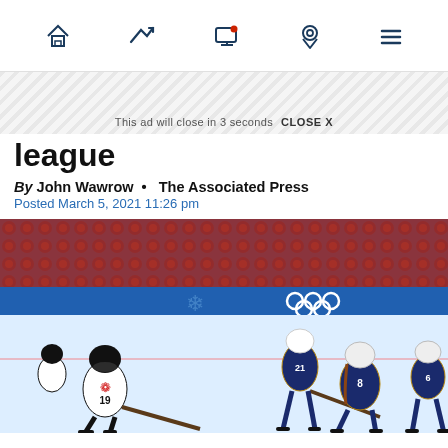Navigation bar with home, trending, notifications, location, menu icons
This ad will close in 3 seconds  CLOSE X
league
By John Wawrow •  The Associated Press
Posted March 5, 2021 11:26 pm
[Figure (photo): Women's ice hockey game between Canada (white jerseys, player #19) and USA (dark blue jerseys, players #21, #8, #6) at the Winter Olympics (PyeongChang), with crowd in background holding Canadian flags]